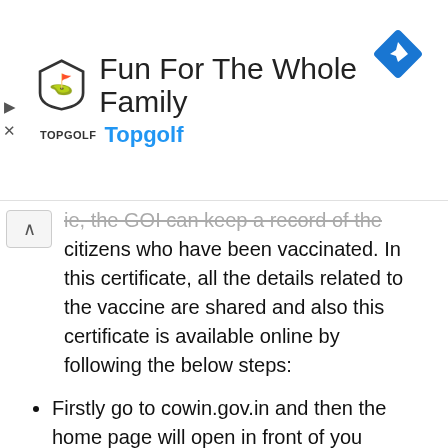[Figure (infographic): Advertisement banner for Topgolf: 'Fun For The Whole Family' with Topgolf logo, brand name in blue, and a navigation/directions icon on the right. Play and close buttons on the left edge.]
e, the GOI can keep a record of the citizens who have been vaccinated. In this certificate, all the details related to the vaccine are shared and also this certificate is available online by following the below steps:
Firstly go to cowin.gov.in and then the home page will open in front of you
On the homepage, you have to click on Register / Sign In.
After that, you have to enter your mobile number and click on Get One-time password
Now One-time password has to be entered in the empty space